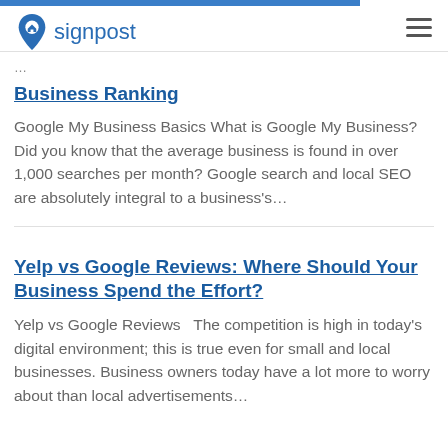signpost
Business Ranking
Google My Business Basics What is Google My Business? Did you know that the average business is found in over 1,000 searches per month? Google search and local SEO are absolutely integral to a business's…
Yelp vs Google Reviews: Where Should Your Business Spend the Effort?
Yelp vs Google Reviews   The competition is high in today's digital environment; this is true even for small and local businesses. Business owners today have a lot more to worry about than local advertisements…